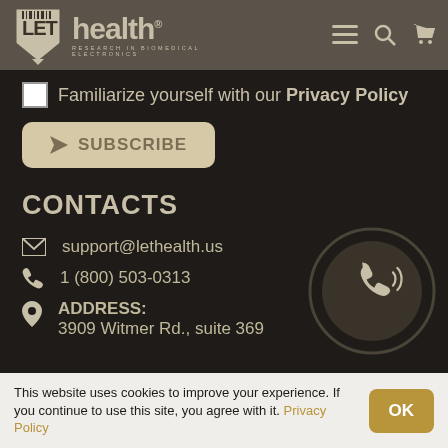LET health — Research in Biomedical Electronics
Familiarize yourself with our Privacy Policy
SUBSCRIBE
CONTACTS
support@lethealth.us
1 (800) 503-0313
ADDRESS:
3909 Witmer Rd., suite 369
[Figure (illustration): Circular phone/call button icon with inner dark circle and phone handset with signal waves]
This website uses cookies to improve your experience. If you continue to use this site, you agree with it. Privacy Policy